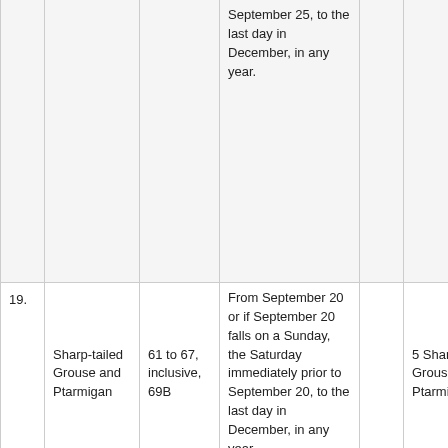|  | Species | Wildlife Management Units | Open Season |  | Bag Limit |
| --- | --- | --- | --- | --- | --- |
|  |  |  | September 25, to the last day in December, in any year. |  |  |
| 19. | Sharp-tailed Grouse and Ptarmigan | 61 to 67, inclusive, 69B | From September 20 or if September 20 falls on a Sunday, the Saturday immediately prior to September 20, to the last day in December, in any year. |  | 5 Sharp-tailed Grouse 5 Ptarmigan |
|  |  |  | From September |  |  |